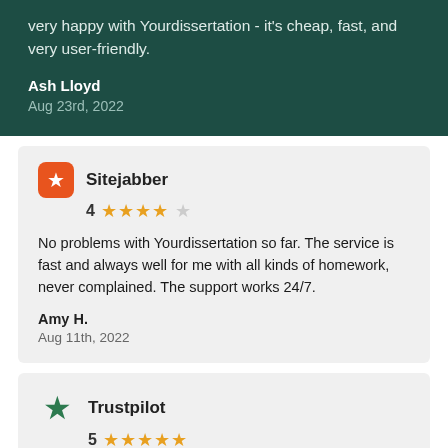very happy with Yourdissertation - it's cheap, fast, and very user-friendly.
Ash Lloyd
Aug 23rd, 2022
Sitejabber
4 stars
No problems with Yourdissertation so far. The service is fast and always well for me with all kinds of homework, never complained. The support works 24/7.
Amy H.
Aug 11th, 2022
Trustpilot
5 stars